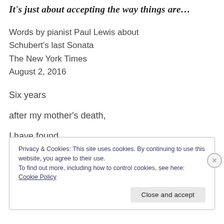It's just about accepting the way things are…
Words by pianist Paul Lewis about
Schubert's last Sonata
The New York Times
August 2, 2016
Six years
after my mother's death,
I have found
Privacy & Cookies: This site uses cookies. By continuing to use this website, you agree to their use.
To find out more, including how to control cookies, see here: Cookie Policy